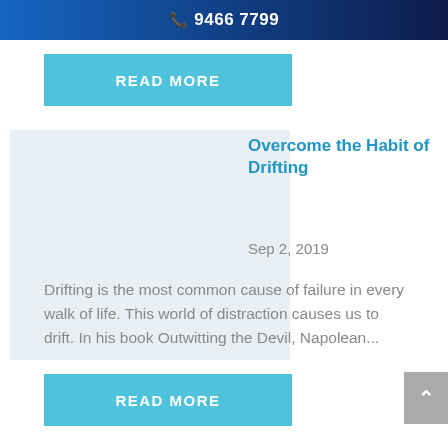📞 9466 7799
READ MORE
[Figure (photo): Faded article thumbnail image]
Overcome the Habit of Drifting
Sep 2, 2019
Drifting is the most common cause of failure in every walk of life. This world of distraction causes us to drift. In his book Outwitting the Devil, Napolean...
READ MORE